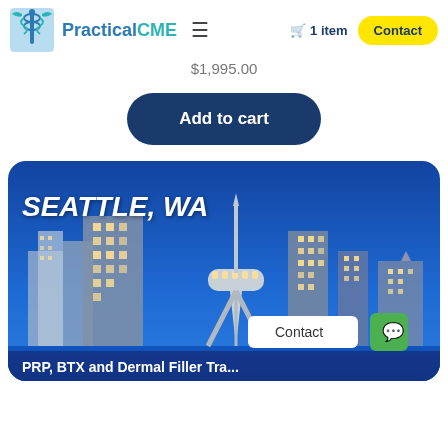PracticalCME — navigation bar with logo, hamburger menu, cart (1 item), Contact button
$1,995.00
Add to cart
[Figure (photo): Seattle, WA city skyline at night featuring the Space Needle, with text 'SEATTLE, WA' overlaid in bold white italic, and partial course title 'PRP, BTX and Dermal Filler Tra...' at the bottom]
PRP, BTX and Dermal Filler Tra...
Contact
Chat icon (green button)